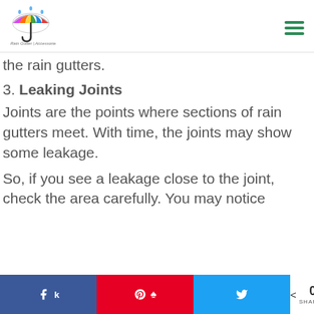[Figure (logo): Rain Gutter Accessories logo — colorful umbrella with rain drops and a large J, text 'Rain Gutter | Accessories' below]
the rain gutters.
3. Leaking Joints
Joints are the points where sections of rain gutters meet. With time, the joints may show some leakage.
So, if you see a leakage close to the joint, check the area carefully. You may notice
Facebook share | Pinterest share | Twitter share | < 0 SHARES